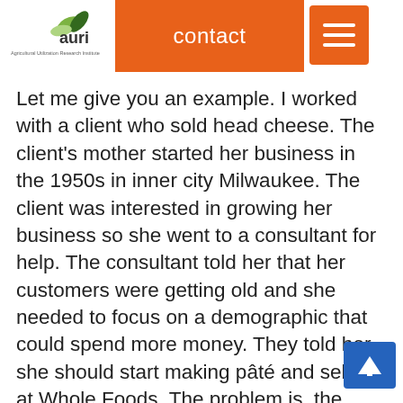auri / Agricultural Utilization Research Institute — contact [menu]
Let me give you an example. I worked with a client who sold head cheese. The client's mother started her business in the 1950s in inner city Milwaukee. The client was interested in growing her business so she went to a consultant for help. The consultant told her that her customers were getting old and she needed to focus on a demographic that could spend more money. They told her she should start making pâté and sell it at Whole Foods. The problem is, the business owner didn't know anything about that market. As it turns out, my client made head cheese and she distributed it. I looked at her customer list and found that her best customers were in neighborhoods where a distributor could help bring about a more diverse...